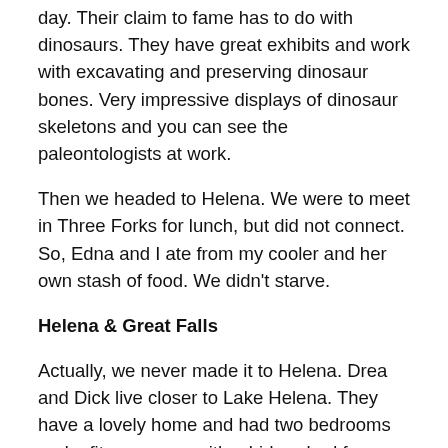day. Their claim to fame has to do with dinosaurs. They have great exhibits and work with excavating and preserving dinosaur bones. Very impressive displays of dinosaur skeletons and you can see the paleontologists at work.
Then we headed to Helena. We were to meet in Three Forks for lunch, but did not connect. So, Edna and I ate from my cooler and her own stash of food. We didn't starve.
Helena & Great Falls
Actually, we never made it to Helena. Drea and Dick live closer to Lake Helena. They have a lovely home and had two bedrooms and a fitness room with a hide-a-bed for us. Although, we hadn't seen each other since 1992, we got along famously. We spent that first afternoon just catching